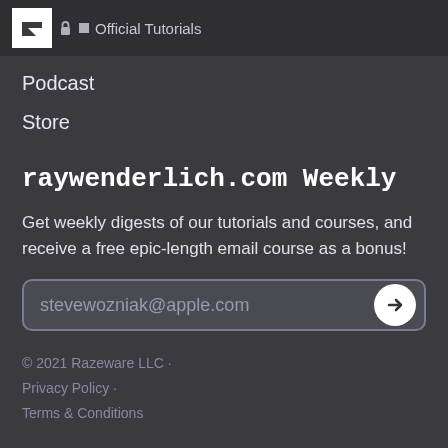Official Tutorials
Podcast
Store
raywenderlich.com Weekly
Get weekly digests of our tutorials and courses, and receive a free epic-length email course as a bonus!
stevewozniak@apple.com
© 2021 Razeware LLC · Privacy Policy · Terms & Conditions